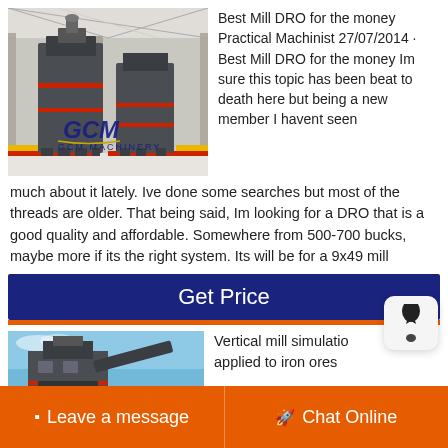[Figure (photo): Industrial milling/crushing machine in a factory setting, with GCM Machinery logo overlay]
Best Mill DRO for the money Practical Machinist 27/07/2014 · Best Mill DRO for the money Im sure this topic has been beat to death here but being a new member I havent seen much about it lately. Ive done some searches but most of the threads are older. That being said, Im looking for a DRO that is a good quality and affordable. Somewhere from 500-700 bucks, maybe more if its the right system. Its will be for a 9x49 mill
Get Price
[Figure (photo): Industrial vertical mill equipment against blue sky]
Vertical mill simulatio applied to iron ores
Leave a message   Chat Online